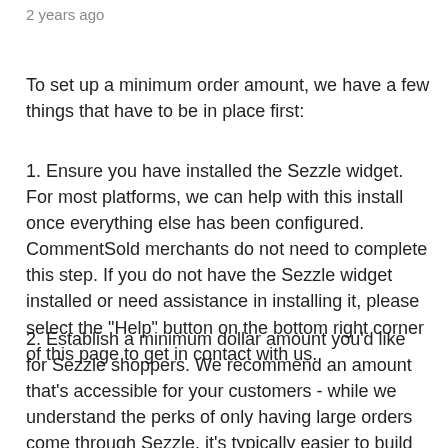2 years ago
To set up a minimum order amount, we have a few things that have to be in place first:
1. Ensure you have installed the Sezzle widget. For most platforms, we can help with this install once everything else has been configured. CommentSold merchants do not need to complete this step. If you do not have the Sezzle widget installed or need assistance in installing it, please select the "Help" button on the bottom right corner of this page to get in contact with us.
2. Establish a minimum dollar amount you'd like for Sezzle shoppers. We recommend an amount that's accessible for your customers - while we understand the perks of only having large orders come through Sezzle, it's typically easier to build loyalty and get repeat shoppers when they're able to start with smaller amounts. We recommend setting your